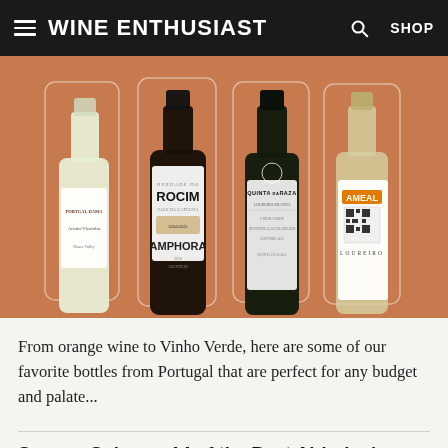Wine Enthusiast — SHOP
[Figure (photo): Four wine bottles from Portugal displayed against a terracotta/copper background: a white wine bottle, Rocim Amphora red wine, Quinta da Raza white wine, and Ameal Loureiro white wine.]
From orange wine to Vinho Verde, here are some of our favorite bottles from Portugal that are perfect for any budget and palate...
Save or Splurge: 14 of the Best Airbnbs in Wine Country
[Figure (photo): Partial view of a scenic wine country landscape with blue sky and flowers.]